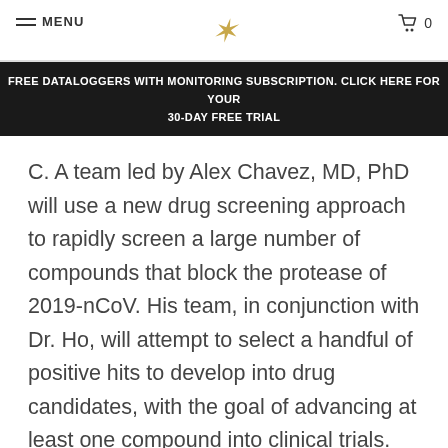MENU | [logo] | 0
FREE DATALOGGERS WITH MONITORING SUBSCRIPTION. CLICK HERE FOR YOUR 30-DAY FREE TRIAL
C. A team led by Alex Chavez, MD, PhD will use a new drug screening approach to rapidly screen a large number of compounds that block the protease of 2019-nCoV. His team, in conjunction with Dr. Ho, will attempt to select a handful of positive hits to develop into drug candidates, with the goal of advancing at least one compound into clinical trials. Polymerase